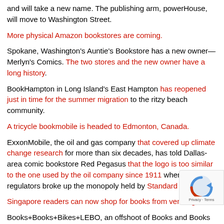and will take a new name. The publishing arm, powerHouse, will move to Washington Street.
More physical Amazon bookstores are coming.
Spokane, Washington's Auntie's Bookstore has a new owner—Merlyn's Comics. The two stores and the new owner have a long history.
BookHampton in Long Island's East Hampton has reopened just in time for the summer migration to the ritzy beach community.
A tricycle bookmobile is headed to Edmonton, Canada.
ExxonMobile, the oil and gas company that covered up climate change research for more than six decades, has told Dallas-area comic bookstore Red Pegasus that the logo is too similar to the one used by the oil company since 1911 when federal regulators broke up the monopoly held by Standard Oil.
Singapore readers can now shop for books from vending ma...
Books+Books+Bikes+LEBO, an offshoot of Books and Books in the